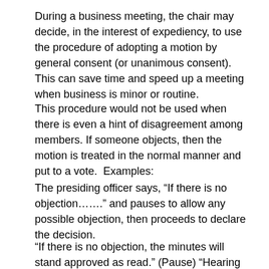During a business meeting, the chair may decide, in the interest of expediency, to use the procedure of adopting a motion by general consent (or unanimous consent). This can save time and speed up a meeting when business is minor or routine.
This procedure would not be used when there is even a hint of disagreement among members. If someone objects, then the motion is treated in the normal manner and put to a vote.  Examples:
The presiding officer says, “If there is no objection…….” and pauses to allow any possible objection, then proceeds to declare the decision.
“If there is no objection, the minutes will stand approved as read.” (Pause) “Hearing none, the minutes will stand